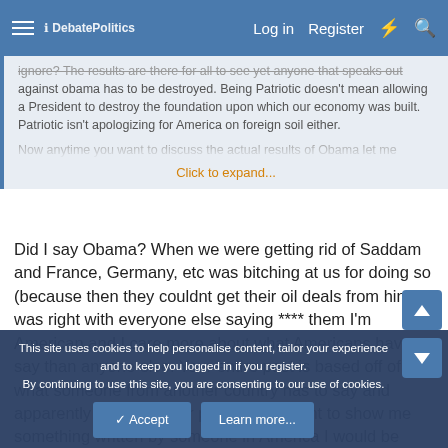DebatePolitics | Log in | Register
ignore? The results are there for all to see yet anyone that speaks out against obama has to be destroyed. Being Patriotic doesn't mean allowing a President to destroy the foundation upon which our economy was built. Patriotic isn't apologizing for America on foreign soil either.

Now anytime you want to discuss the actual results of Obama let me

Click to expand...
Did I say Obama? When we were getting rid of Saddam and France, Germany, etc was bitching at us for doing so (because then they couldnt get their oil deals from him) I was right with everyone else saying **** them I'm American and I care more about what Americans have to say than anyone else. Your entire post is based off of what someone from another country has to say and apparently that was your point, if you want to show me something written by someone in America I would be happy to
This site uses cookies to help personalise content, tailor your experience and to keep you logged in if you register.
By continuing to use this site, you are consenting to our use of cookies.